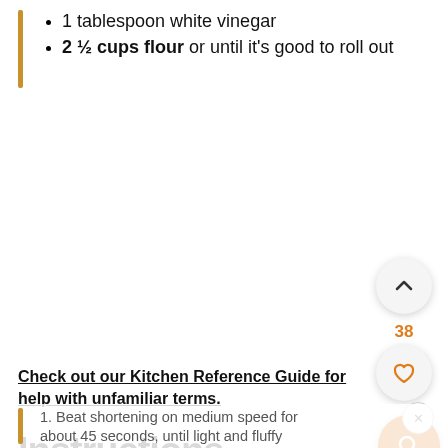1 tablespoon white vinegar
2 ½ cups flour or until it's good to roll out
Check out our Kitchen Reference Guide for help with unfamiliar terms.
Instructions
1. Beat shortening on medium speed for about 45 seconds, until light and fluffy